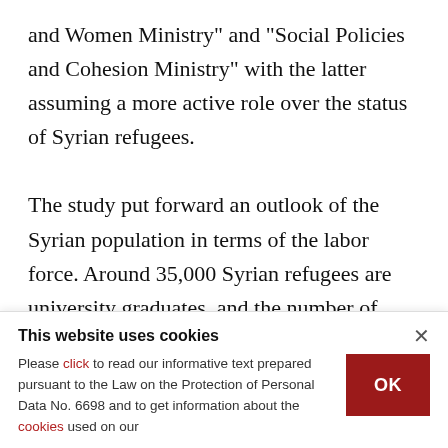and Women Ministry" and "Social Policies and Cohesion Ministry" with the latter assuming a more active role over the status of Syrian refugees.

The study put forward an outlook of the Syrian population in terms of the labor force. Around 35,000 Syrian refugees are university graduates, and the number of Syrians with a qualified profession is very low, the study said. The estimated number of Syrians working without social security was
This website uses cookies
Please click to read our informative text prepared pursuant to the Law on the Protection of Personal Data No. 6698 and to get information about the cookies used on our